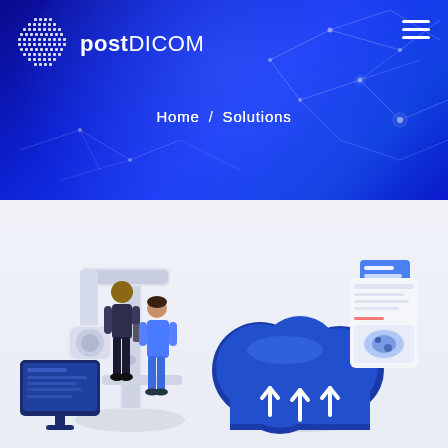[Figure (logo): postDICOM logo with globe icon made of dots and text postDICOM in white on blue background]
Home / Solutions
[Figure (illustration): Isometric illustration showing medical imaging equipment with healthcare workers, a cloud computing icon with data transfer arrows, a computer monitor, and a document viewer on a light blue-gray background]